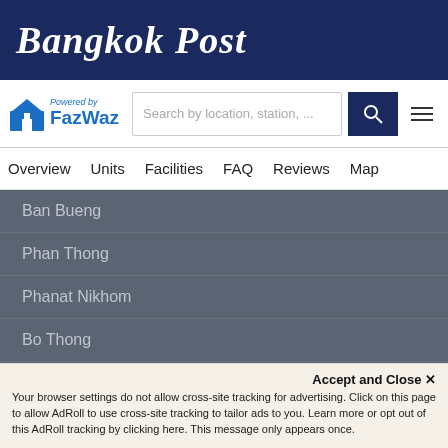Bangkok Post
[Figure (logo): FazWaz logo with house icon and search bar with hamburger menu]
Overview  Units  Facilities  FAQ  Reviews  Map
Ban Bueng
Phan Thong
Phanat Nikhom
Bo Thong
Sattahip Neighborhoods
Bang Sare Property
Na Chom Thian Property
Accept and Close ✕
Your browser settings do not allow cross-site tracking for advertising. Click on this page to allow AdRoll to use cross-site tracking to tailor ads to you. Learn more or opt out of this AdRoll tracking by clicking here. This message only appears once.